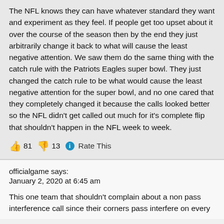The NFL knows they can have whatever standard they want and experiment as they feel. If people get too upset about it over the course of the season then by the end they just arbitrarily change it back to what will cause the least negative attention. We saw them do the same thing with the catch rule with the Patriots Eagles super bowl. They just changed the catch rule to be what would cause the least negative attention for the super bowl, and no one cared that they completely changed it because the calls looked better so the NFL didn't get called out much for it's complete flip that shouldn't happen in the NFL week to week.
👍 81 👎 13 ℹ Rate This
officialgame says:
January 2, 2020 at 6:45 am
This one team that shouldn't complain about a non pass interference call since their corners pass interfere on every...